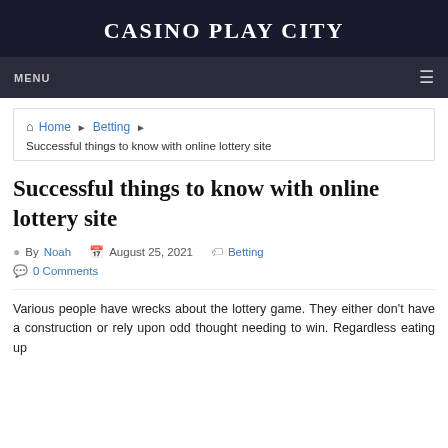CASINO PLAY CITY
MENU
Home › Betting › Successful things to know with online lottery site
Successful things to know with online lottery site
By Noah  August 25, 2021  Betting  0 Comments
Various people have wrecks about the lottery game. They either don't have a construction or rely upon odd thought needing to win. Regardless eating up